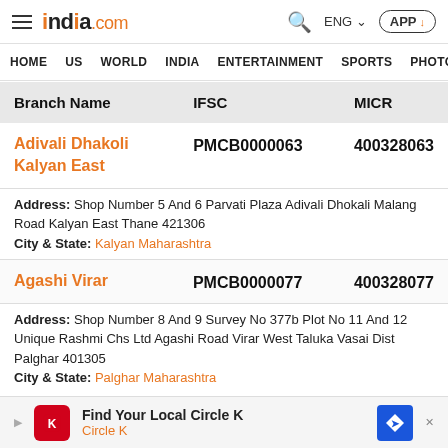india.com — HOME US WORLD INDIA ENTERTAINMENT SPORTS PHOTOS
| Branch Name | IFSC | MICR |
| --- | --- | --- |
| Adivali Dhakoli Kalyan East | PMCB0000063 | 400328063 |
| Agashi Virar | PMCB0000077 | 400328077 |
Address: Shop Number 5 And 6 Parvati Plaza Adivali Dhokali Malang Road Kalyan East Thane 421306
City & State: Kalyan Maharashtra
Address: Shop Number 8 And 9 Survey No 377b Plot No 11 And 12 Unique Rashmi Chs Ltd Agashi Road Virar West Taluka Vasai Dist Palghar 401305
City & State: Palghar Maharashtra